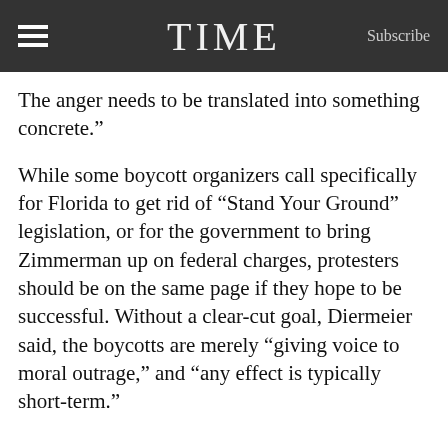TIME | Subscribe
The anger needs to be translated into something concrete.”
While some boycott organizers call specifically for Florida to get rid of “Stand Your Ground” legislation, or for the government to bring Zimmerman up on federal charges, protesters should be on the same page if they hope to be successful. Without a clear-cut goal, Diermeier said, the boycotts are merely “giving voice to moral outrage,” and “any effect is typically short-term.”